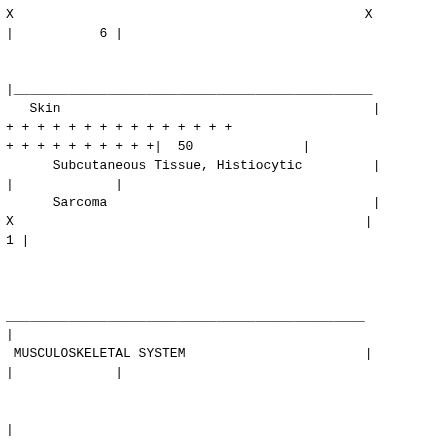| X |  | X |
| | | 6 | |  |
|  |  |  |
| |____________________________ |  |  |
|    Skin |  | | |
| + + + + + + + + + + + + + + + |  |  |
| + + + + + + + + + +|  50 |  | | |
|       Subcutaneous Tissue, Histiocytic |  | | |
| | | | |  |
|       Sarcoma |  | | |
| X |  | | |
| 1 | |  |  |
|  |  |  |
|  |  |  |
| ____________________________ |  |  |
| | |  |  |
|  MUSCULOSKELETAL SYSTEM |  | | |
| | | | |  |
|  |  |  |
| | |  |  |